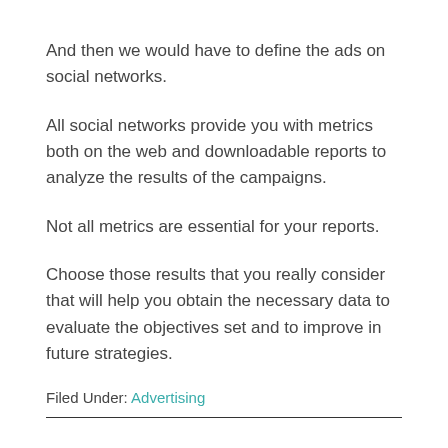And then we would have to define the ads on social networks.
All social networks provide you with metrics both on the web and downloadable reports to analyze the results of the campaigns.
Not all metrics are essential for your reports.
Choose those results that you really consider that will help you obtain the necessary data to evaluate the objectives set and to improve in future strategies.
Filed Under: Advertising